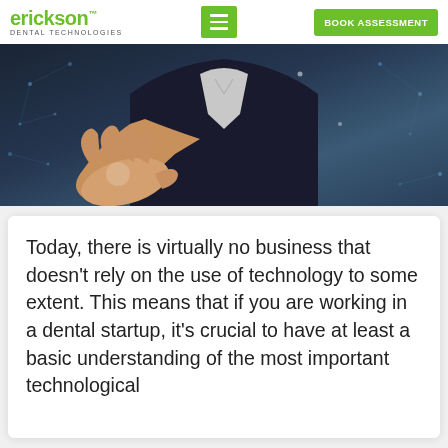erickson DENTAL TECHNOLOGIES
[Figure (photo): Person in dark suit with open hand extended, technology network background with glowing nodes and connections]
Today, there is virtually no business that doesn't rely on the use of technology to some extent. This means that if you are working in a dental startup, it's crucial to have at least a basic understanding of the most important technological